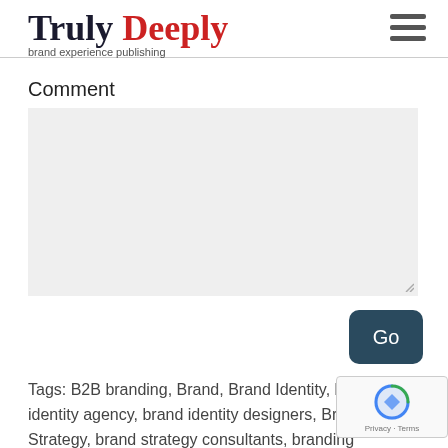Truly Deeply — brand experience publishing
Comment
[Comment text area input field]
Go
Tags: B2B branding, Brand, Brand Identity, brand identity agency, brand identity designers, Brand Strategy, brand strategy consultants, branding strategy, consultancy branding, corporate branding, CSR branding, CSR consultancy,